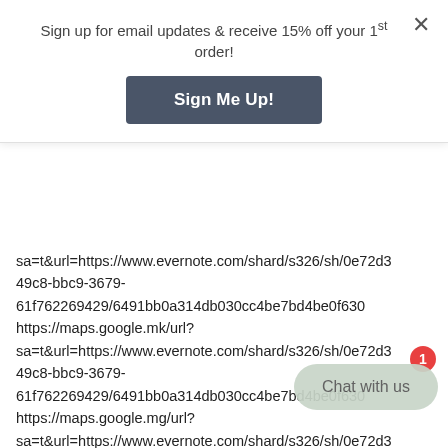Sign up for email updates & receive 15% off your 1st order!
[Figure (other): Sign Me Up! button — dark slate blue rounded rectangle button]
sa=t&url=https://www.evernote.com/shard/s326/sh/0e72d3 49c8-bbc9-3679-61f762269429/6491bb0a314db030cc4be7bd4be0f630
https://maps.google.mk/url?
sa=t&url=https://www.evernote.com/shard/s326/sh/0e72d3 49c8-bbc9-3679-61f762269429/6491bb0a314db030cc4be7bd4be0f630
https://maps.google.mg/url?
sa=t&url=https://www.evernote.com/shard/s326/sh/0e72d3 49c8-bbc9-3679-61f762269429/6491bb0a314db030cc4be7bd4be0f630
https://maps.google.lv/url?
sa=t&url=https://www.evernote.com/shard/s326/sh/0e72d3
[Figure (other): Chat with us button with badge showing 1]